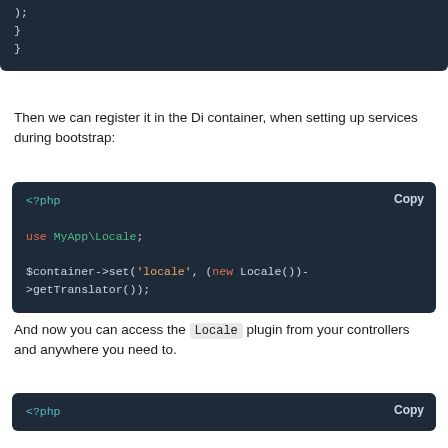[Figure (screenshot): Code block showing closing braces: ); } }]
Then we can register it in the Di container, when setting up services during bootstrap:
[Figure (screenshot): PHP code block: <?php use MyApp\Locale; $container->set('locale', (new Locale())->getTranslator());]
And now you can access the Locale plugin from your controllers and anywhere you need to.
[Figure (screenshot): PHP code block starting with <?php]